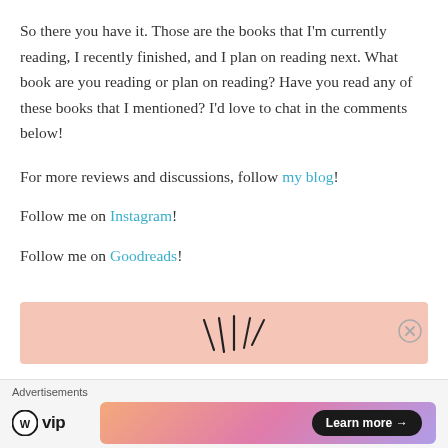So there you have it. Those are the books that I'm currently reading, I recently finished, and I plan on reading next. What book are you reading or plan on reading? Have you read any of these books that I mentioned? I'd love to chat in the comments below!
For more reviews and discussions, follow my blog!
Follow me on Instagram!
Follow me on Goodreads!
[Figure (infographic): Pink/salmon colored banner with hand-drawn style burst lines, partially visible at bottom of content area]
Advertisements — WordPress VIP — Learn more →